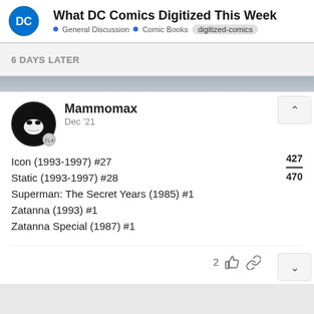What DC Comics Digitized This Week — General Discussion • Comic Books • digitized-comics
6 DAYS LATER
Mammomax Dec '21
Icon (1993-1997) #27
Static (1993-1997) #28
Superman: The Secret Years (1985) #1
Zatanna (1993) #1
Zatanna Special (1987) #1
2 👍 🔗